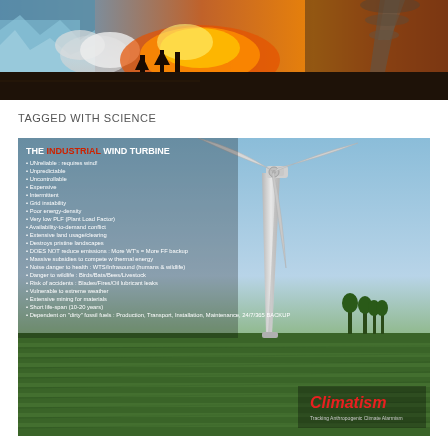[Figure (photo): Collage banner image showing dramatic climate scenes: glaciers, fire/explosion, tornado, apocalyptic skies]
TAGGED WITH SCIENCE
[Figure (infographic): Infographic titled 'THE INDUSTRIAL WIND TURBINE' with bullet list of negatives overlaid on a photo of a large wind turbine in a field, with Climatism branding at bottom right]